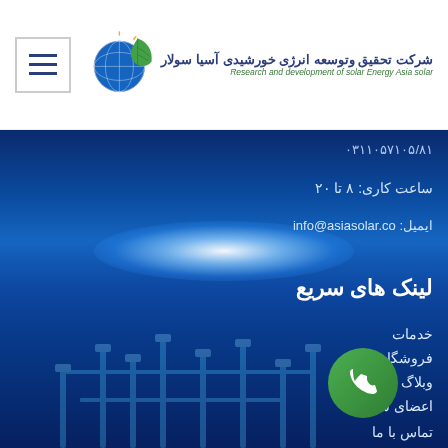[Figure (logo): Asia Solar company logo with globe/solar panel icon and green leaf drop shape]
شرکت تحقیق وتوسعه انرژی خورشیدی آسیا سولار
Research and development of solar Energy Asia solar
[Figure (photo): Blue technology background with bright glowing light beam effect and technical pipeline structures at bottom]
۰۳۱۱۰۵۷۱۰۵/۸۱
ساعت کاری: ۸ تا ۲۰
ایمیل: info@asiasolar.co
لینک های سریع
خدمات
فروشگاه
وبلاگ
اعضای شرکت
تماس با ما